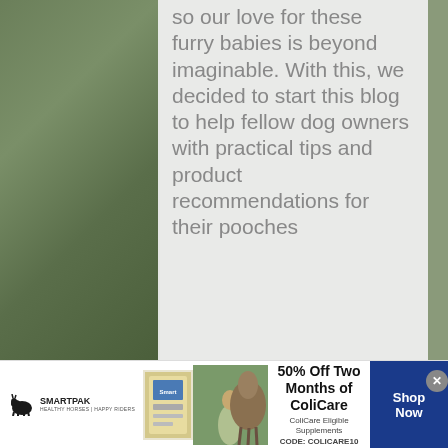so our love for these furry babies is beyond imaginable. With this, we decided to start this blog to help fellow dog owners with practical tips and product recommendations for their pooches
[Figure (screenshot): SmartPak advertisement banner showing 50% Off Two Months of ColiCare offer with ColiCare Eligible Supplements, CODE: COLICARE10, with SmartPak logo, product image, and photo of person with horse]